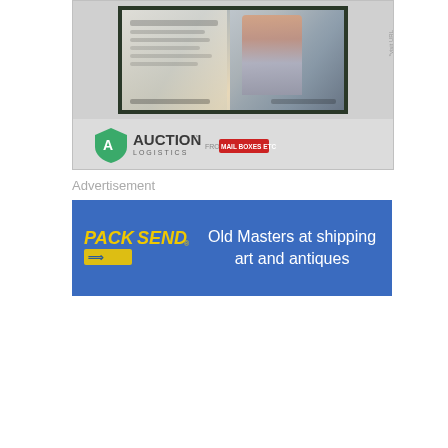[Figure (photo): Top portion of an auction logistics advertisement showing an artwork/painting with a figure, framed image with handwritten text elements, displayed against a gray background with Auction Logistics from Mail Boxes Etc. logo at the bottom of the ad block.]
Advertisement
[Figure (photo): Pack & Send banner advertisement on blue background with Pack & Send logo on the left and text 'Old Masters at shipping art and antiques' on the right.]